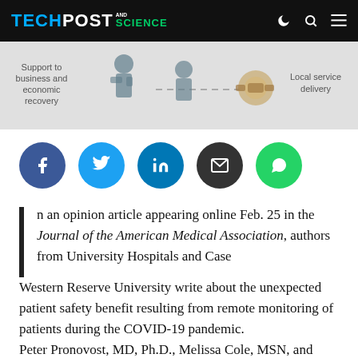TECH POST AND SCIENCE
[Figure (infographic): Banner advertisement showing business support and local service delivery with illustrated figures and icons]
[Figure (infographic): Social media sharing buttons: Facebook, Twitter, LinkedIn, Email, WhatsApp]
In an opinion article appearing online Feb. 25 in the Journal of the American Medical Association, authors from University Hospitals and Case Western Reserve University write about the unexpected patient safety benefit resulting from remote monitoring of patients during the COVID-19 pandemic.
Peter Pronovost, MD, Ph.D., Melissa Cole, MSN, and